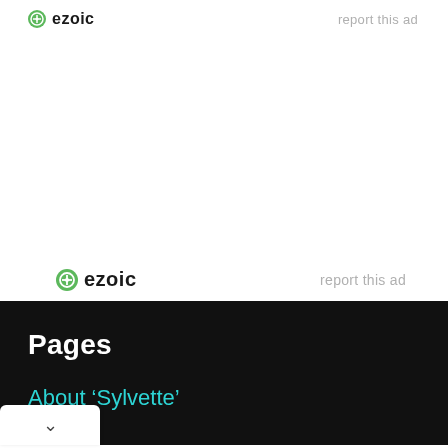[Figure (logo): Ezoic logo with green circular icon and bold 'ezoic' text, first instance]
report this ad
[Figure (logo): Ezoic logo with green circular icon and bold 'ezoic' text, second instance]
report this ad
Pages
About ‘Sylvette’